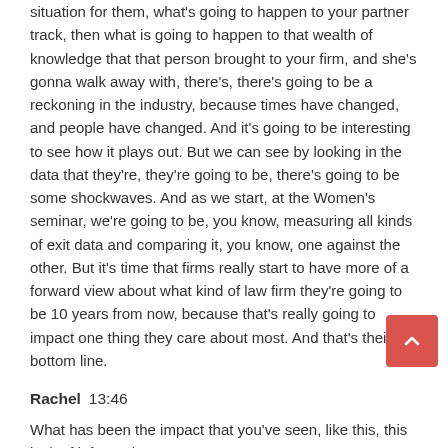situation for them, what's going to happen to your partner track, then what is going to happen to that wealth of knowledge that that person brought to your firm, and she's gonna walk away with, there's, there's going to be a reckoning in the industry, because times have changed, and people have changed. And it's going to be interesting to see how it plays out. But we can see by looking in the data that they're, they're going to be, there's going to be some shockwaves. And as we start, at the Women's seminar, we're going to be, you know, measuring all kinds of exit data and comparing it, you know, one against the other. But it's time that firms really start to have more of a forward view about what kind of law firm they're going to be 10 years from now, because that's really going to impact one thing they care about most. And that's their bottom line.
Rachel  13:46
What has been the impact that you've seen, like this, this lack of information?
Laura Leonard  13:54